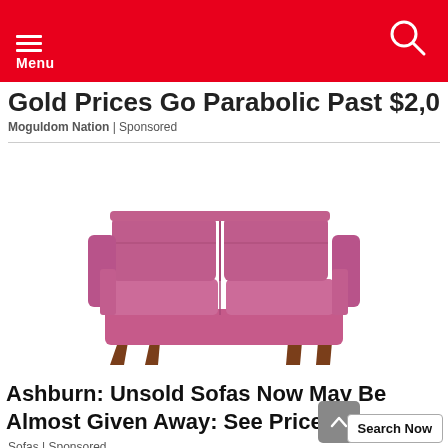Menu (navigation bar with search icon)
Gold Prices Go Parabolic Past $2,000
Moguldom Nation | Sponsored
[Figure (photo): A purple/magenta two-seat sofa with cushioned back and seat, wooden tapered legs, on a white background]
Ashburn: Unsold Sofas Now May Be Almost Given Away: See Prices
Sofas | Sponsored